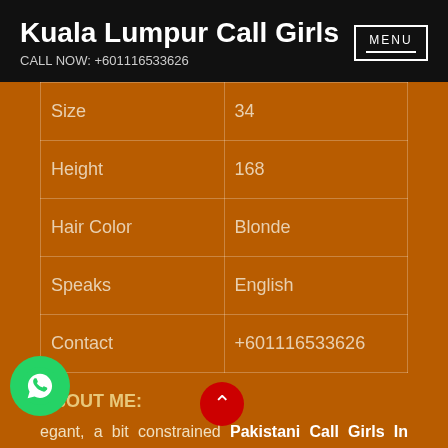Kuala Lumpur Call Girls
CALL NOW: +601116533626
| Size | 34 |
| Height | 168 |
| Hair Color | Blonde |
| Speaks | English |
| Contact | +601116533626 |
ABOUT ME:
elegant, a bit constrained Pakistani Call Girls In kualalumpur with excellent body